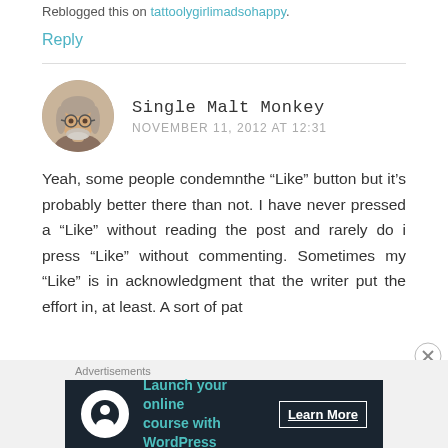Reblogged this on tattoolygirlimadsohappy.
Reply
[Figure (photo): Circular avatar photo of a man with grey hair and glasses, smiling]
Single Malt Monkey
NOVEMBER 11, 2012 AT 12:31
Yeah, some people condemnthe “Like” button but it’s probably better there than not. I have never pressed a “Like” without reading the post and rarely do i press “Like” without commenting. Sometimes my “Like” is in acknowledgment that the writer put the effort in, at least. A sort of pat
Advertisements
[Figure (screenshot): Dark advertisement banner: 'Launch your online course with WordPress' with Learn More button]